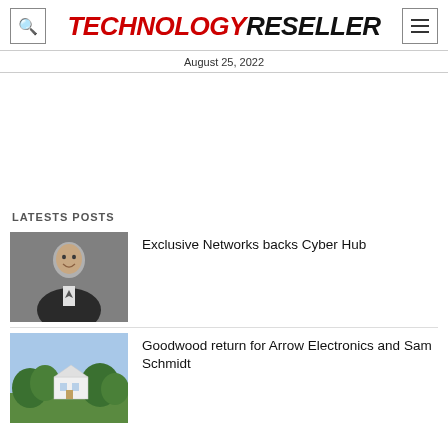TECHNOLOGY RESELLER
August 25, 2022
[Figure (other): Advertisement placeholder / blank space]
LATESTS POSTS
[Figure (photo): Headshot of a smiling man in a dark suit with grey hair]
Exclusive Networks backs Cyber Hub
[Figure (photo): Outdoor scene with greenery and a white structure/building]
Goodwood return for Arrow Electronics and Sam Schmidt